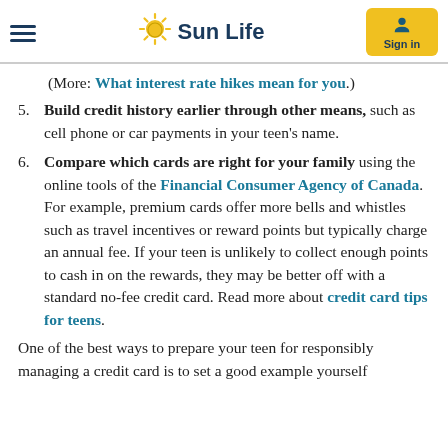Sun Life
(More: What interest rate hikes mean for you.)
5. Build credit history earlier through other means, such as cell phone or car payments in your teen’s name.
6. Compare which cards are right for your family using the online tools of the Financial Consumer Agency of Canada. For example, premium cards offer more bells and whistles such as travel incentives or reward points but typically charge an annual fee. If your teen is unlikely to collect enough points to cash in on the rewards, they may be better off with a standard no-fee credit card. Read more about credit card tips for teens.
One of the best ways to prepare your teen for responsibly managing a credit card is to set a good example yourself